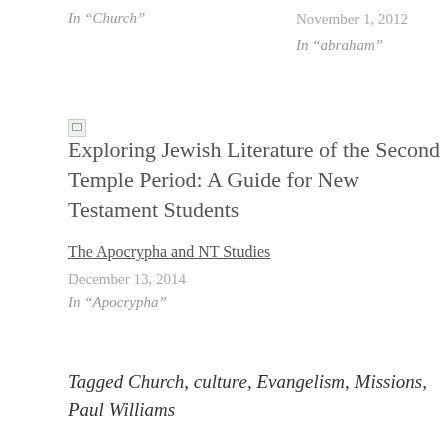In "Church"
November 1, 2012
In "abraham"
[Figure (illustration): Broken/placeholder image thumbnail for book 'Exploring Jewish Literature of the Second Temple Period: A Guide for New Testament Students']
Exploring Jewish Literature of the Second Temple Period: A Guide for New Testament Students
The Apocrypha and NT Studies
December 13, 2014
In "Apocrypha"
Tagged Church, culture, Evangelism, Missions, Paul Williams